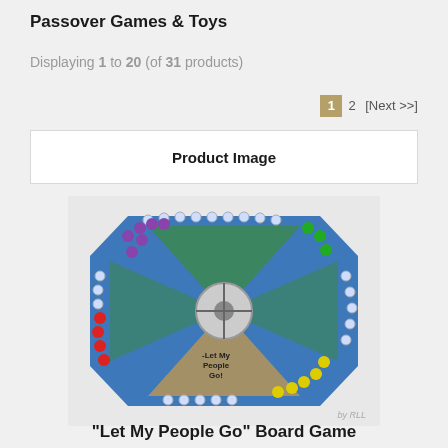Passover Games & Toys
Displaying 1 to 20 (of 31 products)
1  2  [Next >>]
Product Image
[Figure (photo): A blue Passover-themed board game called 'Let My People Go' with colorful player pieces (red, yellow, green, purple) arranged around the board, featuring a central spinner. Labeled 'by RLL' in corner.]
"Let My People Go" Board Game